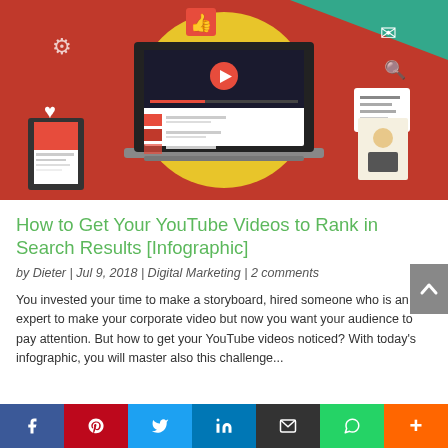[Figure (illustration): Digital marketing illustration showing a laptop with a YouTube-style video player on screen, surrounded by social media icons (thumbs up, heart, envelope, gear), a tablet device, and a person card, all on a red background with a yellow circle behind the laptop.]
How to Get Your YouTube Videos to Rank in Search Results [Infographic]
by Dieter | Jul 9, 2018 | Digital Marketing | 2 comments
You invested your time to make a storyboard, hired someone who is an expert to make your corporate video but now you want your audience to pay attention. But how to get your YouTube videos noticed? With today's infographic, you will master also this challenge...
[Figure (infographic): Social sharing bar at the bottom with buttons for Facebook, Pinterest, Twitter, LinkedIn, Email, WhatsApp, and More (+)]